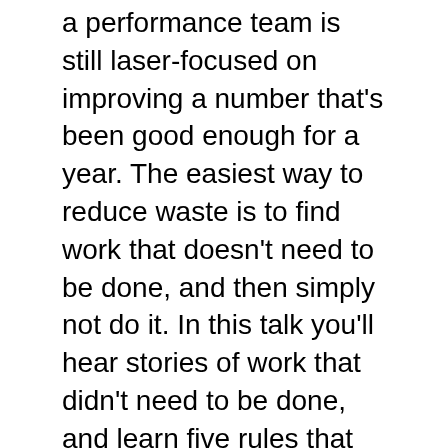a performance team is still laser-focused on improving a number that's been good enough for a year. The easiest way to reduce waste is to find work that doesn't need to be done, and then simply not do it. In this talk you'll hear stories of work that didn't need to be done, and learn five rules that would have saved months of work. Each rule is short, simple, and memorable, ensuring ease of use in planning conversations. You'll learn how to apply the rules in an agile context and beyond.
For our Q&A, bring your own favorite story of needless work to share.
Learning Objectives